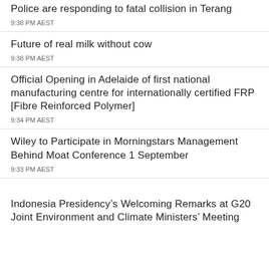Police are responding to fatal collision in Terang
9:38 PM AEST
Future of real milk without cow
9:38 PM AEST
Official Opening in Adelaide of first national manufacturing centre for internationally certified FRP [Fibre Reinforced Polymer]
9:34 PM AEST
Wiley to Participate in Morningstars Management Behind Moat Conference 1 September
9:33 PM AEST
Indonesia Presidency’s Welcoming Remarks at G20 Joint Environment and Climate Ministers’ Meeting